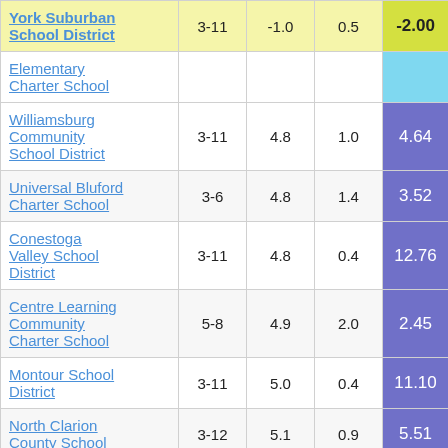| School/District | Grades | Col3 | Col4 | Score |
| --- | --- | --- | --- | --- |
| York Suburban School District | 3-11 | -1.0 | 0.5 | -2.00 |
| Elementary Charter School |  |  |  |  |
| Williamsburg Community School District | 3-11 | 4.8 | 1.0 | 4.64 |
| Universal Bluford Charter School | 3-6 | 4.8 | 1.4 | 3.52 |
| Conestoga Valley School District | 3-11 | 4.8 | 0.4 | 12.76 |
| Centre Learning Community Charter School | 5-8 | 4.9 | 2.0 | 2.45 |
| Montour School District | 3-11 | 5.0 | 0.4 | 11.10 |
| North Clarion County School | 3-12 | 5.1 | 0.9 | 5.51 |